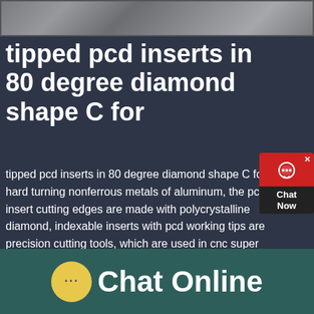[Figure (photo): Outdoor scene with gravel/rocks and some machinery or equipment visible, shown as a horizontal strip at the top]
tipped pcd inserts in 80 degree diamond shape C for
[Figure (other): Red chat widget popup with headset icon, showing 'Chat Now' text and an X close button]
tipped pcd inserts in 80 degree diamond shape C for hard turning nonferrous metals of aluminum, the pcd insert cutting edges are made with polycrystalline diamond, indexable inserts with pcd working tips are precision cutting tools, which are used in cnc super fine finish machining, turning and milling automobile engine block, cylinder head, gearbox, cast aluminum alloy with
Chat Online